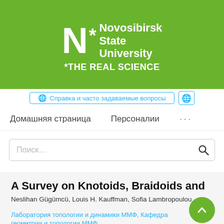[Figure (logo): Novosibirsk State University logo on green background with text '*THE REAL SCIENCE']
🌐 Справка и часто задаваемые вопросы
Домашняя страница   Персоналии   ...
Поиск…
A Survey on Knotoids, Braidoids and Their Applications
Neslihan Gügümcü, Louis H. Kauffman, Sofia Lambropoulou
Лаборатория топологии и динамики ММФ, Кафедра геометрии и топологии ММФ